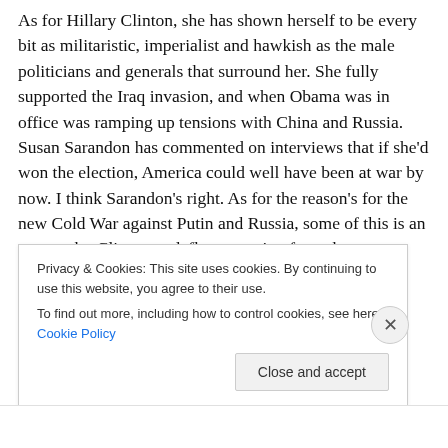As for Hillary Clinton, she has shown herself to be every bit as militaristic, imperialist and hawkish as the male politicians and generals that surround her. She fully supported the Iraq invasion, and when Obama was in office was ramping up tensions with China and Russia. Susan Sarandon has commented on interviews that if she'd won the election, America could well have been at war by now. I think Sarandon's right. As for the reason's for the new Cold War against Putin and Russia, some of this is an attempt by Clinton to deflect attention from the
Privacy & Cookies: This site uses cookies. By continuing to use this website, you agree to their use.
To find out more, including how to control cookies, see here: Cookie Policy